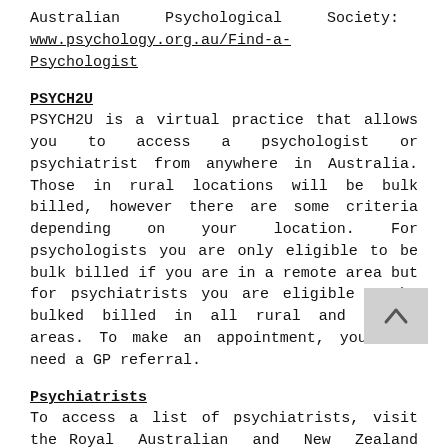Australian Psychological Society: www.psychology.org.au/Find-a-Psychologist
PSYCH2U
PSYCH2U is a virtual practice that allows you to access a psychologist or psychiatrist from anywhere in Australia. Those in rural locations will be bulk billed, however there are some criteria depending on your location. For psychologists you are only eligible to be bulk billed if you are in a remote area but for psychiatrists you are eligible to be bulked billed in all rural and remote areas. To make an appointment, you will need a GP referral.
Psychiatrists
To access a list of psychiatrists, visit the Royal Australian and New Zealand College of Psychiatrists: www.yourhealthinmind.org/find-a-